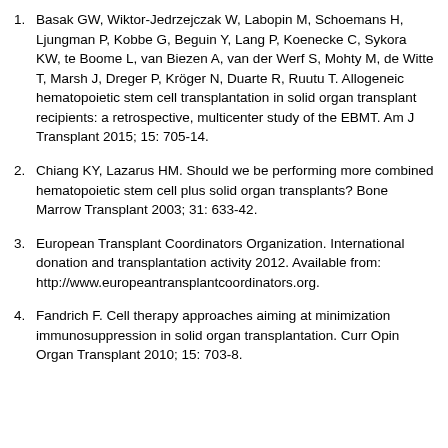Basak GW, Wiktor-Jedrzejczak W, Labopin M, Schoemans H, Ljungman P, Kobbe G, Beguin Y, Lang P, Koenecke C, Sykora KW, te Boome L, van Biezen A, van der Werf S, Mohty M, de Witte T, Marsh J, Dreger P, Kröger N, Duarte R, Ruutu T. Allogeneic hematopoietic stem cell transplantation in solid organ transplant recipients: a retrospective, multicenter study of the EBMT. Am J Transplant 2015; 15: 705-14.
Chiang KY, Lazarus HM. Should we be performing more combined hematopoietic stem cell plus solid organ transplants? Bone Marrow Transplant 2003; 31: 633-42.
European Transplant Coordinators Organization. International donation and transplantation activity 2012. Available from: http://www.europeantransplantcoordinators.org.
Fandrich F. Cell therapy approaches aiming at minimization immunosuppression in solid organ transplantation. Curr Opin Organ Transplant 2010; 15: 703-8.